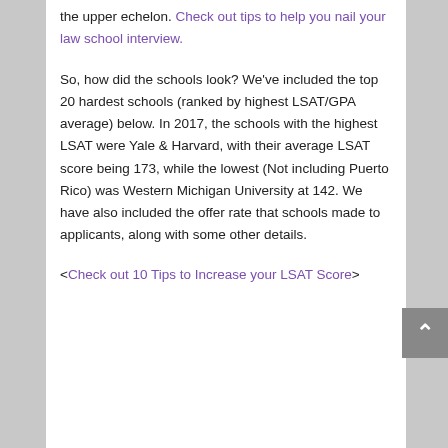the upper echelon. Check out tips to help you nail your law school interview.
So, how did the schools look? We've included the top 20 hardest schools (ranked by highest LSAT/GPA average) below. In 2017, the schools with the highest LSAT were Yale & Harvard, with their average LSAT score being 173, while the lowest (Not including Puerto Rico) was Western Michigan University at 142. We have also included the offer rate that schools made to applicants, along with some other details.
<Check out 10 Tips to Increase your LSAT Score>